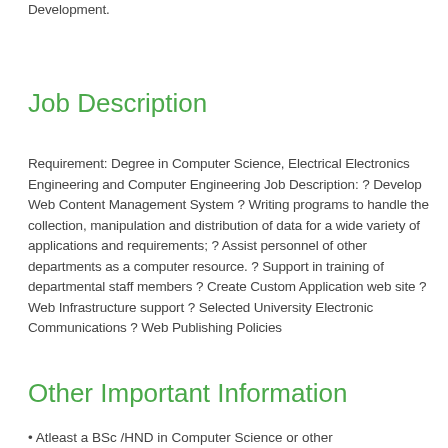Development.
Job Description
Requirement: Degree in Computer Science, Electrical Electronics Engineering and Computer Engineering Job Description: ? Develop Web Content Management System ? Writing programs to handle the collection, manipulation and distribution of data for a wide variety of applications and requirements; ? Assist personnel of other departments as a computer resource. ? Support in training of departmental staff members ? Create Custom Application web site ? Web Infrastructure support ? Selected University Electronic Communications ? Web Publishing Policies
Other Important Information
• Atleast a BSc /HND in Computer Science or other